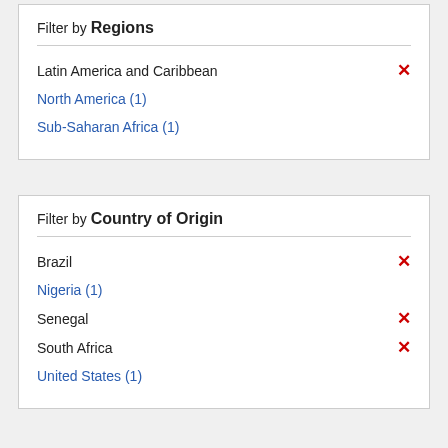Filter by Regions
Latin America and Caribbean ✕
North America (1)
Sub-Saharan Africa (1)
Filter by Country of Origin
Brazil ✕
Nigeria (1)
Senegal ✕
South Africa ✕
United States (1)